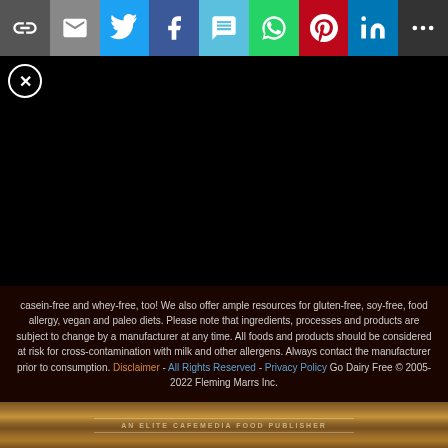[Figure (screenshot): Social share bar with icons: copy link, email, Twitter, Facebook, SMS, WhatsApp, Pinterest, LinkedIn, more]
[Figure (screenshot): Black content/video area with a white circled X close button in upper left]
casein-free and whey-free, too! We also offer ample resources for gluten-free, soy-free, food allergy, vegan and paleo diets. Please note that ingredients, processes and products are subject to change by a manufacturer at any time. All foods and products should be considered at risk for cross-contamination with milk and other allergens. Always contact the manufacturer prior to consumption. Disclaimer - All Rights Reserved - Privacy Policy Go Dairy Free © 2005-2022 Fleming Marrs Inc.
AN ELITE CAFEMEDIA FOOD PUBLISHER